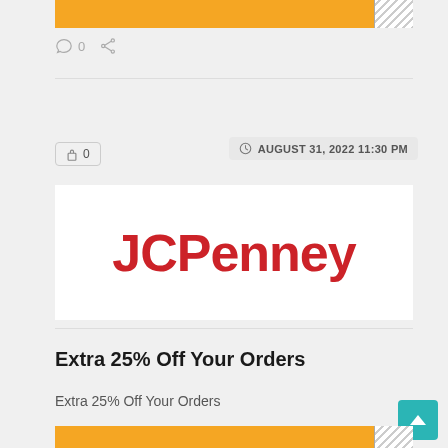[Figure (screenshot): Top orange promotional bar with white text and hatched thumbnail on right]
0  (share icon)
0  (lock icon)
AUGUST 31, 2022 11:30 PM
[Figure (logo): JCPenney logo in red bold text on white background]
Extra 25% Off Your Orders
Extra 25% Off Your Orders
[Figure (screenshot): Bottom orange bar with hatched thumbnail on right]